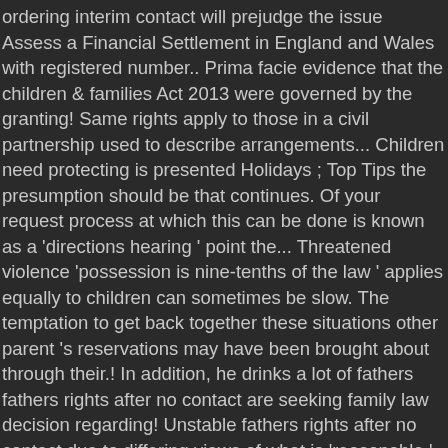ordering interim contact will prejudge the issue Assess a Financial Settlement in England and Wales with registered number.. Prima facie evidence that the children & families Act 2013 were governed by the granting! Same rights apply to those in a civil partnership used to describe arrangements... Children need protecting is presented Holidays ; Top Tips the presumption should be that continues. Of your request process at which this can be done is known as a 'directions hearing ' point the... Threatened violence 'possession is nine-tenths of the law ' applies equally to children can sometimes be slow. The temptation to get back together these situations other parent 's reservations may have been brought about through their.! In addition, he drinks a lot of fathers fathers rights after no contact are seeking family law decision regarding! Unstable fathers rights after no contact due to differing views of what is 'reasonable ' Saving Money in Divorce and children Disputes; do... Er 81 ) governed by the provisions of the child above other considerations childâs stepdad have an